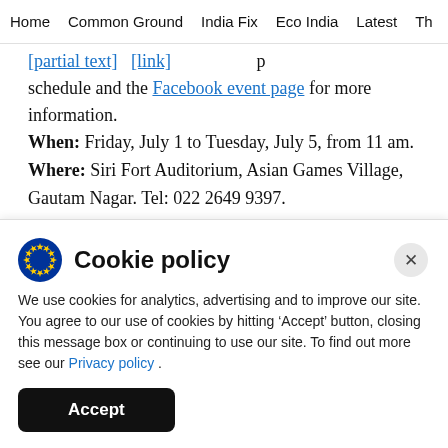Home | Common Ground | India Fix | Eco India | Latest | Th
schedule and the Facebook event page for more information.
When: Friday, July 1 to Tuesday, July 5, from 11 am.
Where: Siri Fort Auditorium, Asian Games Village, Gautam Nagar. Tel: 022 2649 9397.
ADVERTISEMENT
Cookie policy
We use cookies for analytics, advertising and to improve our site. You agree to our use of cookies by hitting ‘Accept’ button, closing this message box or continuing to use our site. To find out more see our Privacy policy .
Accept